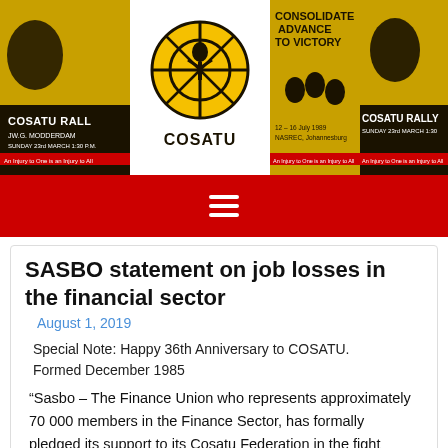[Figure (illustration): COSATU website header banner showing collage of COSATU rally posters in yellow and black with COSATU logo in center]
SASBO statement on job losses in the financial sector
August 1, 2019
Special Note: Happy 36th Anniversary to COSATU. Formed December 1985
“Sasbo – The Finance Union who represents approximately 70 000 members in the Finance Sector, has formally pledged its support to its Cosatu Federation in the fight against job losses in the finance sector.”